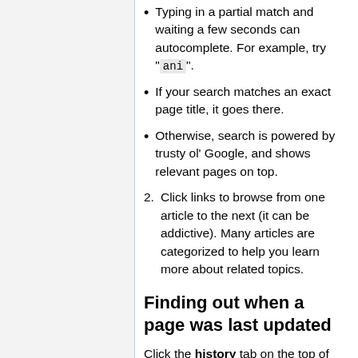Typing in a partial match and waiting a few seconds can autocomplete. For example, try "ani".
If your search matches an exact page title, it goes there.
Otherwise, search is powered by trusty ol' Google, and shows relevant pages on top.
Click links to browse from one article to the next (it can be addictive). Many articles are categorized to help you learn more about related topics.
Finding out when a page was last updated
Click the history tab on the top of a